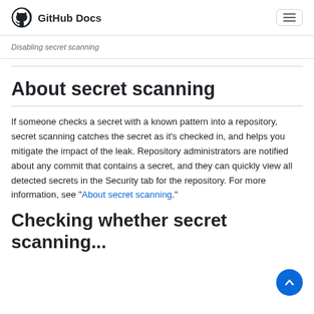GitHub Docs
Disabling secret scanning
About secret scanning
If someone checks a secret with a known pattern into a repository, secret scanning catches the secret as it's checked in, and helps you mitigate the impact of the leak. Repository administrators are notified about any commit that contains a secret, and they can quickly view all detected secrets in the Security tab for the repository. For more information, see "About secret scanning."
Checking whether secret scanning...